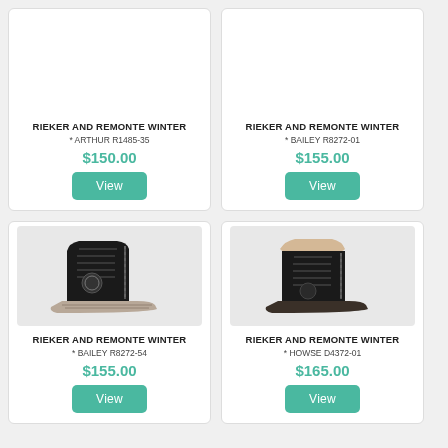RIEKER AND REMONTE WINTER
* ARTHUR R1485-35
$150.00
RIEKER AND REMONTE WINTER
* BAILEY R8272-01
$155.00
[Figure (photo): Black winter boot with side zipper and lace-up closure, BAILEY R8272-54]
RIEKER AND REMONTE WINTER
* BAILEY R8272-54
$155.00
[Figure (photo): Black leather winter boot with fur trim, side zipper and lace-up closure, HOWSE D4372-01]
RIEKER AND REMONTE WINTER
* HOWSE D4372-01
$165.00